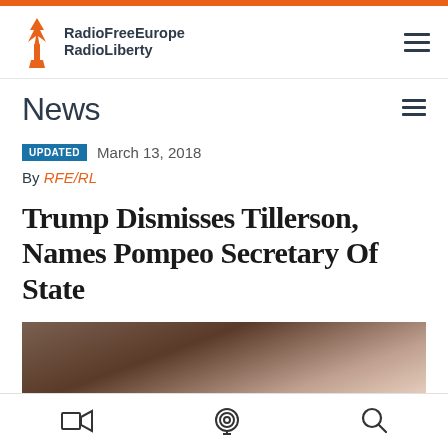RadioFreeEurope RadioLiberty
News
UPDATED March 13, 2018
By RFE/RL
Trump Dismisses Tillerson, Names Pompeo Secretary Of State
[Figure (photo): Close-up photo of two older men, partially cropped, with blurred background in warm brown tones.]
Navigation icons: video, podcast, search